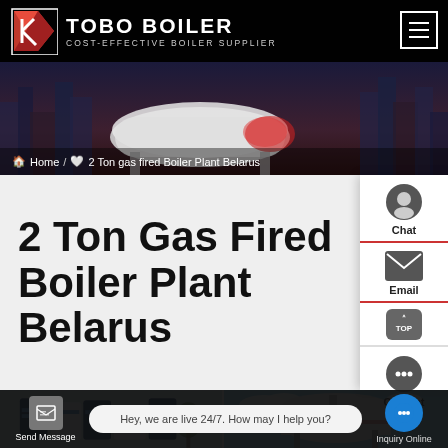TOBO BOILER — COST-EFFECTIVE BOILER SUPPLIER
[Figure (screenshot): Website header banner showing TOBO BOILER logo with stylized kite/flag icon on dark background, with cityscape silhouette and industrial boiler equipment image in the background]
Home / 2 Ton gas fired Boiler Plant Belarus
2 Ton Gas Fired Boiler Plant Belarus
[Figure (photo): Two product photos: left shows blue and white industrial boiler units outdoors, right shows white industrial boiler tank against blue sky]
Hey, we are live 24/7. How may I help you?
Send Message | Inquiry Online